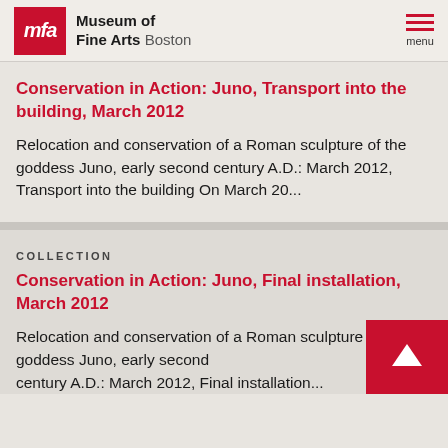Museum of Fine Arts Boston
Conservation in Action: Juno, Transport into the building, March 2012
Relocation and conservation of a Roman sculpture of the goddess Juno, early second century A.D.: March 2012, Transport into the building On March 20...
COLLECTION
Conservation in Action: Juno, Final installation, March 2012
Relocation and conservation of a Roman sculpture of the goddess Juno, early second century A.D.: March 2012, Final installation...